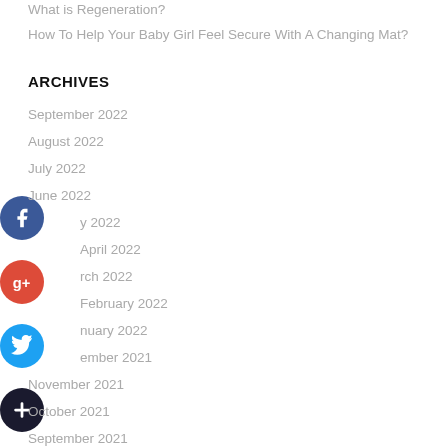What is Regeneration?
How To Help Your Baby Girl Feel Secure With A Changing Mat?
ARCHIVES
September 2022
August 2022
July 2022
June 2022
May 2022
April 2022
March 2022
February 2022
January 2022
December 2021
November 2021
October 2021
September 2021